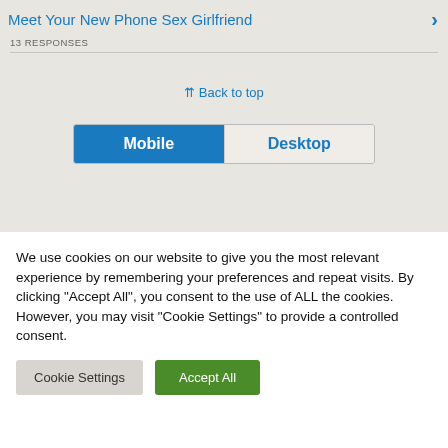Meet Your New Phone Sex Girlfriend
13 RESPONSES
⇈ Back to top
[Figure (other): Toggle bar with Mobile (active, blue) and Desktop (inactive) options]
We use cookies on our website to give you the most relevant experience by remembering your preferences and repeat visits. By clicking "Accept All", you consent to the use of ALL the cookies. However, you may visit "Cookie Settings" to provide a controlled consent.
Cookie Settings | Accept All